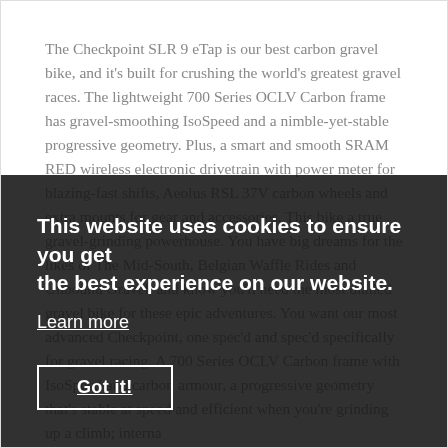The Checkpoint SLR 9 eTap is our best carbon gravel bike, and it's built for crushing the world's greatest gravel races. The lightweight 700 Series OCLV Carbon frame has gravel-smoothing IsoSpeed and a nimble-yet-stable progressive geometry. Plus, a smart and smooth SRAM RED wireless electronic drivetrain with power meter for blazing-fast shifts, Aeolus RSL 37V carbon wheels and extra mounts for gear and accessories. This bike a true gravel-grinding powerhouse. You have big dreams for the likes of The Mid-South, Belgian Waffle Rides and Unbound Gravel, and know you'll need the most dialled gravel bike for these epic adventures. You want our most advanced Checkpoint, one spec'd and spec'd specifically for gravel racing. A 700 Series OCLV Carbon frame with IsoSpeed and carbon armour, a progressive geometry that's stable at speed and efficient when you're grinding up a climb; interna
This website uses cookies to ensure you get the best experience on our website.
Learn more
Got it!